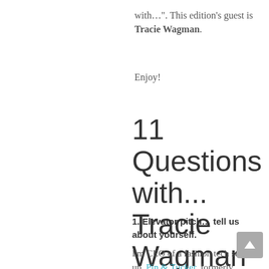with…". This edition's guest is Tracie Wagman.
Enjoy!
11 Questions with... Tracie Wagman
1. Elevator pitch… tell us about yourself.
I'm CEO of a fashion tech start up, Pin & Tucker, formerly CEO